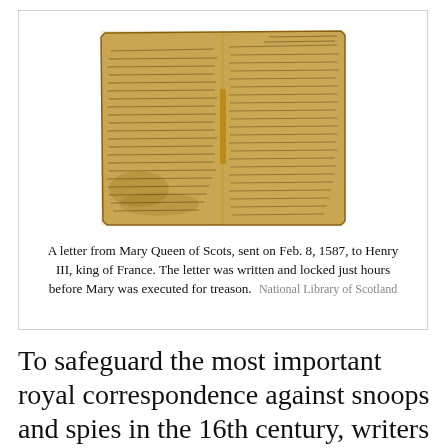[Figure (photo): A photograph of an aged, yellowed handwritten letter on crinkled parchment paper, with dense cursive writing covering the surface and a vertical fold line down the center.]
A letter from Mary Queen of Scots, sent on Feb. 8, 1587, to Henry III, king of France. The letter was written and locked just hours before Mary was executed for treason. National Library of Scotland
To safeguard the most important royal correspondence against snoops and spies in the 16th century, writers employed a complicated means of security. They'd fold the letter, then cut a dangling